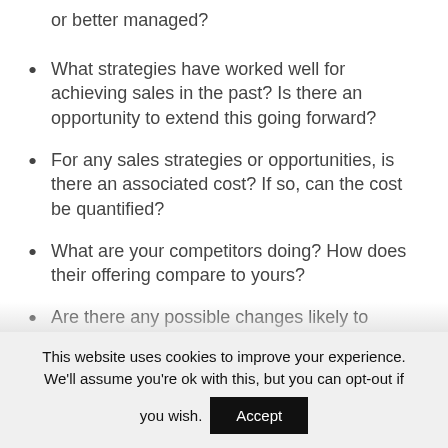or better managed?
What strategies have worked well for achieving sales in the past? Is there an opportunity to extend this going forward?
For any sales strategies or opportunities, is there an associated cost? If so, can the cost be quantified?
What are your competitors doing? How does their offering compare to yours?
Are there any possible changes likely to impact your industry? E.g. regulation / new tools / emerging technology
This website uses cookies to improve your experience. We'll assume you're ok with this, but you can opt-out if you wish. Accept